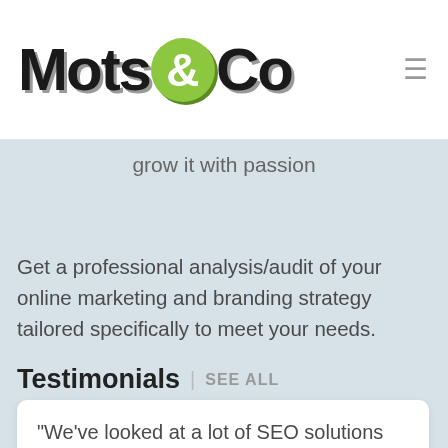Mots&Co [logo with hamburger menu]
grow it with passion
Get a professional analysis/audit of your online marketing and branding strategy tailored specifically to meet your needs.
Testimonials | SEE ALL
“We’ve looked at a lot of SEO solutions but these guys were